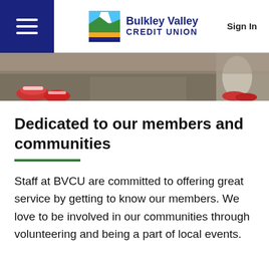Bulkley Valley CREDIT UNION | Sign In
[Figure (photo): Hero image strip showing children's feet in colorful sneakers on pavement]
Dedicated to our members and communities
Staff at BVCU are committed to offering great service by getting to know our members. We love to be involved in our communities through volunteering and being a part of local events.